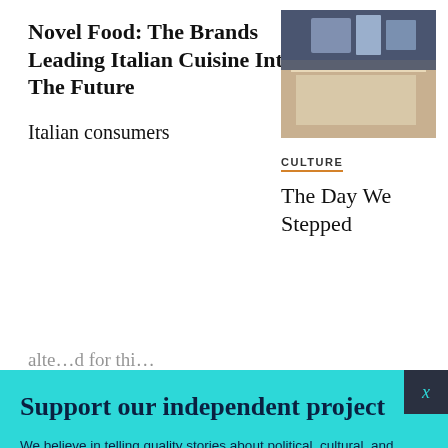Novel Food: The Brands Leading Italian Cuisine Into The Future
[Figure (photo): Restaurant table setting with glasses and white tablecloth, dark toned photo]
Italian consumers
CULTURE
The Day We Stepped
Support our independent project
We believe in telling quality stories about political, cultural, and social life in Italy, free from paywalls or (too many) ads. If you enjoy reading, we hope you'll consider donating or subscribing to our Patreon community. Thank you.
BECOME A PATRON
DONATE
Follow us: Facebook Instagram Twitter